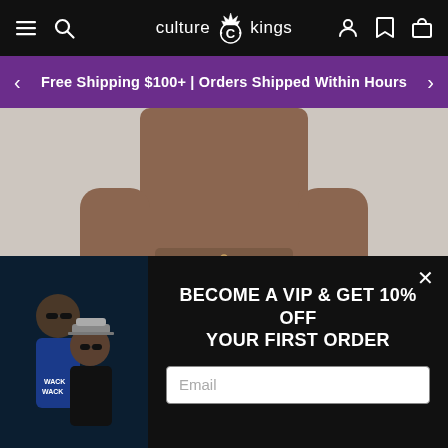Culture Kings navigation bar with hamburger menu, search icon, logo, user icon, bookmark icon, and bag icon
Free Shipping $100+ | Orders Shipped Within Hours
[Figure (photo): Male model shown from waist up wearing black drawstring athletic shorts against a light grey background]
[Figure (photo): Two young people wearing sunglasses and streetwear, one in a blue hoodie, shown in dark background on the left side of the VIP popup]
BECOME A VIP & GET 10% OFF YOUR FIRST ORDER
Email